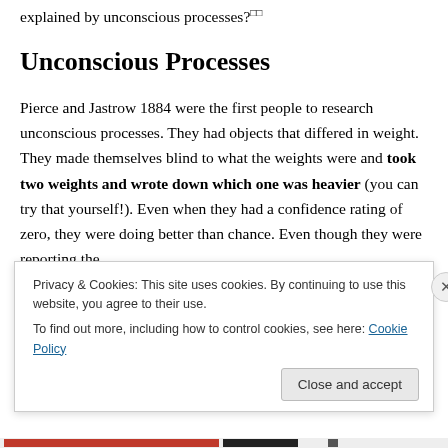explained by unconscious processes?
Unconscious Processes
Pierce and Jastrow 1884 were the first people to research unconscious processes. They had objects that differed in weight. They made themselves blind to what the weights were and took two weights and wrote down which one was heavier (you can try that yourself!). Even when they had a confidence rating of zero, they were doing better than chance. Even though they were reporting the
Privacy & Cookies: This site uses cookies. By continuing to use this website, you agree to their use.
To find out more, including how to control cookies, see here: Cookie Policy
Close and accept